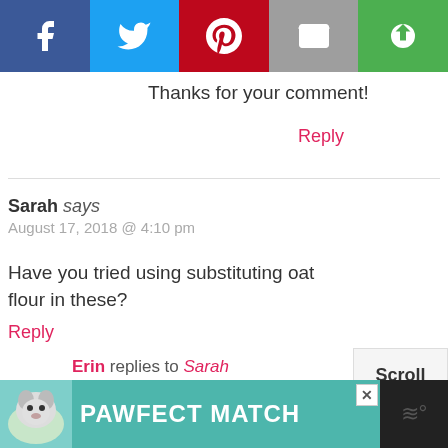[Figure (screenshot): Social share bar with Facebook, Twitter, Pinterest, Email, and More buttons]
Thanks for your comment!
Reply
Sarah says
August 17, 2018 @ 4:10 pm
Have you tried using substituting oat flour in these?
Reply
Erin replies to Sarah
August 18, 2018 @ 2:39 pm
Scroll to top
[Figure (photo): PAWFECT MATCH advertisement banner with dog photo]